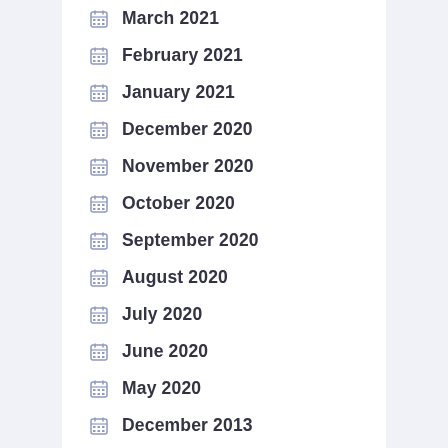March 2021
February 2021
January 2021
December 2020
November 2020
October 2020
September 2020
August 2020
July 2020
June 2020
May 2020
December 2013